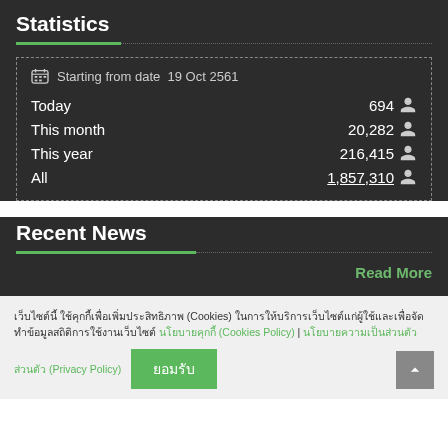Statistics
|  |  |
| --- | --- |
| Starting from date  19 Oct 2561 |  |
| Today | 694 |
| This month | 20,282 |
| This year | 216,415 |
| All | 1,857,310 |
Recent News
Read More
เว็บไซต์นี้ ใช้คุกกี้เพื่อเพิ่มประสิทธิภาพ (Cookies) ในการให้บริการเว็บไซต์แก่ผู้ใช้และเพื่อจัดทำข้อมูลสถิติการใช้งานเว็บไซต์ นโยบายคุกกี้ (Cookies Policy) | นโยบายความเป็นส่วนตัว (Privacy Policy)
ยอมรับ